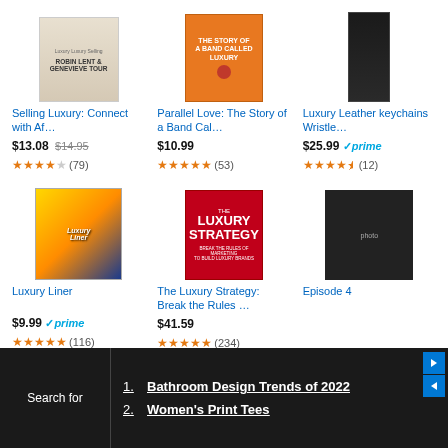[Figure (screenshot): Amazon shopping results page showing 6 products in a 3x2 grid related to 'luxury', with product images, titles, prices, and star ratings. Bottom section shows a dark trending searches panel.]
Selling Luxury: Connect with Af…
$13.08 $14.95
★★★★☆ (79)
Parallel Love: The Story of a Band Cal…
$10.99
★★★★★ (53)
Luxury Leather keychains Wristle…
$25.99 ✓prime
★★★★½ (12)
Luxury Liner
$9.99 ✓prime
★★★★★ (116)
The Luxury Strategy: Break the Rules …
$41.59
★★★★★ (234)
Episode 4
Search for
1. Bathroom Design Trends of 2022
2. Women's Print Tees